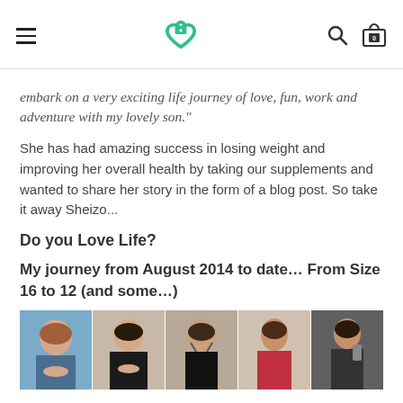Navigation header with hamburger menu, heart-lock logo, search icon, and cart icon
embark on a very exciting life journey of love, fun, work and adventure with my lovely son."
She has had amazing success in losing weight and improving her overall health by taking our supplements and wanted to share her story in the form of a blog post. So take it away Sheizo...
Do you Love Life?
My journey from August 2014 to date… From Size 16 to 12 (and some…)
[Figure (photo): A photo strip showing five images of a woman at different stages of weight loss, from heavier to slimmer.]